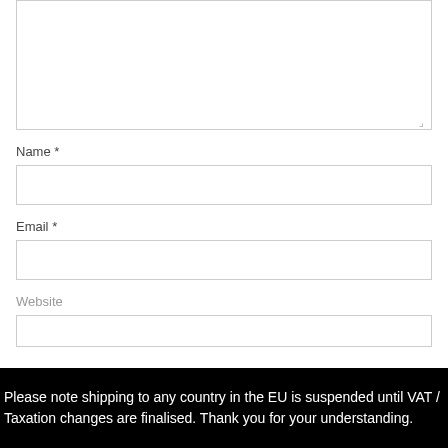Name *
Email *
Website
Please note shipping to any country in the EU is suspended until VAT / Taxation changes are finalised. Thank you for your understanding.